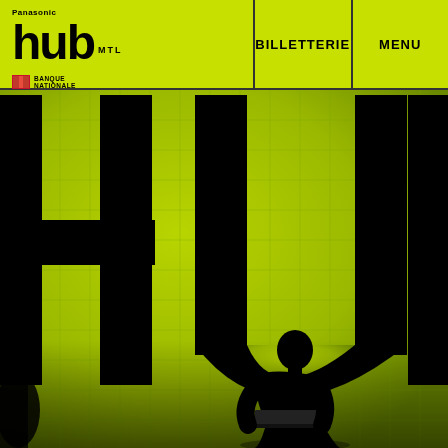[Figure (logo): Panasonic Hub MTL logo with Banque Nationale sponsor logo on yellow-green navigation bar]
BILLETTERIE
MENU
[Figure (photo): Hero photograph showing a bright yellow-green tiled wall with large black letters spelling HUB. A silhouette of a person sitting with a laptop is visible in the foreground.]